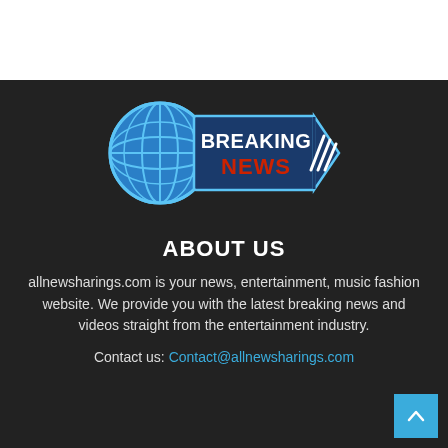[Figure (logo): Breaking News logo with a blue globe on the left and a blue arrow/banner shape on the right containing 'BREAKING' in white bold text and 'NEWS' in red bold text with three diagonal white stripes on the right edge.]
ABOUT US
allnewsharings.com is your news, entertainment, music fashion website. We provide you with the latest breaking news and videos straight from the entertainment industry.
Contact us: Contact@allnewsharings.com